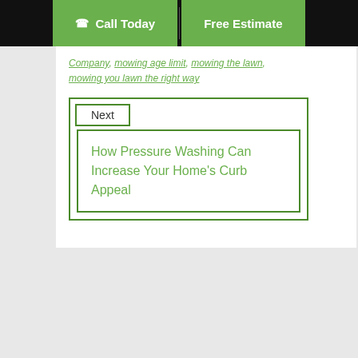Call Today | Free Estimate
Company, mowing age limit, mowing the lawn, mowing you lawn the right way
Next
How Pressure Washing Can Increase Your Home’s Curb Appeal